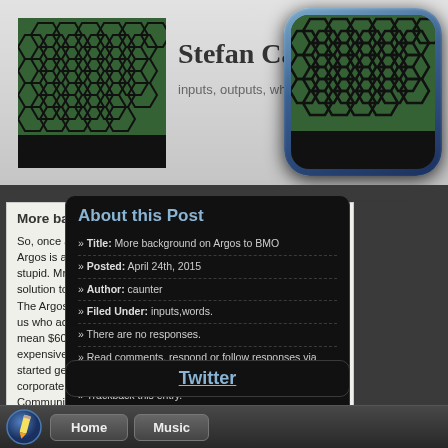[Figure (screenshot): Blog/website screenshot showing 'Stefan Ca...' header with net/fence photo, app icon top right, article about Argos to BMO, About this Post sidebar, Twitter section, and Home/Music navigation bar at bottom]
Stefan Ca...
inputs, outputs, what it...
More background on Argos to BM...
So, once again, more loud whining... Argos is an old, rich man. You don... stupid. Mr. David Braley is hopeful... solution to an issue that is entirely... The Argos "play" in a "stadium" ca... us who actually paid for the thing, ... mean $600 million 1980s dollars ... expensive and awesome in 1989. ... started getting handed down for p... corporate interests (remember "Sportsco"?), until Rogers Communications got it in 2004 for ... not have the Argos leave the dom... new stadium being built (that wou...
About this Post
» Title: More background on Argos to BMO
» Posted: April 24th, 2015
» Author: caunter
» Filed Under: inputs,words.
» There are no responses.
» Read comments, respond or follow responses via RSS.
» Trackback this entry.
Twitter
Home   Music